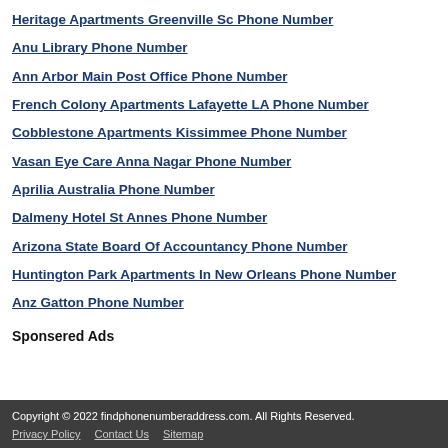Heritage Apartments Greenville Sc Phone Number
Anu Library Phone Number
Ann Arbor Main Post Office Phone Number
French Colony Apartments Lafayette LA Phone Number
Cobblestone Apartments Kissimmee Phone Number
Vasan Eye Care Anna Nagar Phone Number
Aprilia Australia Phone Number
Dalmeny Hotel St Annes Phone Number
Arizona State Board Of Accountancy Phone Number
Huntington Park Apartments In New Orleans Phone Number
Anz Gatton Phone Number
Sponsered Ads
Copyright © 2022 findphonenumberaddress.com. All Rights Reserved. Privacy Policy Contact Us Sitemap